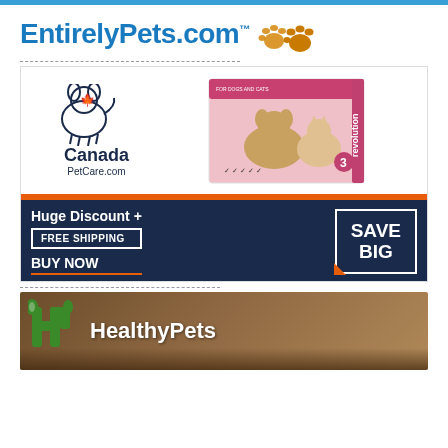[Figure (logo): EntirelyPets.com logo with paw print icons in blue and orange]
[Figure (infographic): Canada PetCare.com advertisement banner showing dog/cat outline logo, Revolution flea treatment product box, with dark navy bottom section showing 'Huge Discount + FREE SHIPPING', 'BUY NOW', and 'SAVE BIG' box with orange accent]
[Figure (logo): HealthyPets advertisement banner with green HP logo and white bold text on warm brown background with animals visible at bottom]